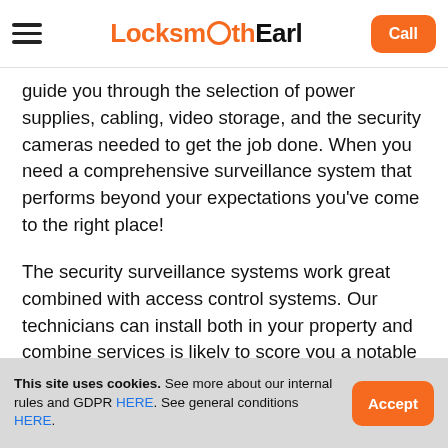Locksmith Earl — Call
guide you through the selection of power supplies, cabling, video storage, and the security cameras needed to get the job done. When you need a comprehensive surveillance system that performs beyond your expectations you've come to the right place!
The security surveillance systems work great combined with access control systems. Our technicians can install both in your property and combine services is likely to score you a notable discount!
This site uses cookies. See more about our internal rules and GDPR HERE. See general conditions HERE.